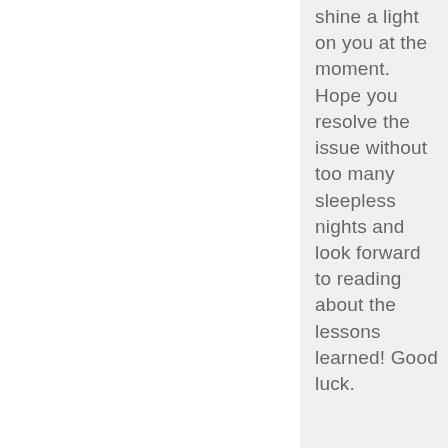shine a light on you at the moment. Hope you resolve the issue without too many sleepless nights and look forward to reading about the lessons learned! Good luck.